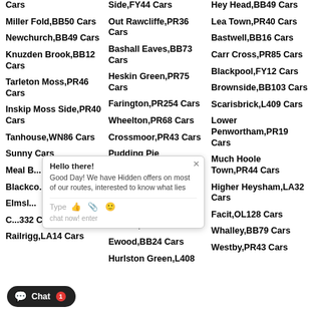Cars
Side,FY44 Cars
Hey Head,BB49 Cars
Miller Fold,BB50 Cars
Out Rawcliffe,PR36 Cars
Lea Town,PR40 Cars
Newchurch,BB49 Cars
Bashall Eaves,BB73 Cars
Bastwell,BB16 Cars
Knuzden Brook,BB12 Cars
Heskin Green,PR75 Cars
Carr Cross,PR85 Cars
Tarleton Moss,PR46 Cars
Farington,PR254 Cars
Blackpool,FY12 Cars
Inskip Moss Side,PR40 Cars
Wheelton,PR68 Cars
Brownside,BB103 Cars
Tanhouse,WN86 Cars
Crossmoor,PR43 Cars
Scarisbrick,L409 Cars
Sunny Cars
Pudding Pie Nook,PR32 Cars
Lower Penwortham,PR19 Cars
Meal B...
Newton,PR43 Cars
Much Hoole Town,PR44 Cars
Blackco...
Higher Cloughfold,BB47 Cars
Higher Heysham,LA32 Cars
Elmsl...
Euxton,PR76 Cars
Facit,OL128 Cars
C...332 Cars
Ewood,BB24 Cars
Whalley,BB79 Cars
Railrigg,LA14 Cars
Hurlston Green,L408
Westby,PR43 Cars